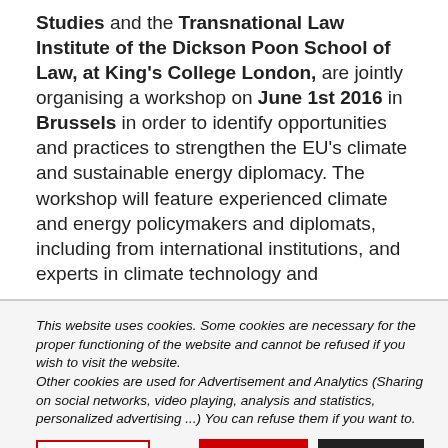Studies and the Transnational Law Institute of the Dickson Poon School of Law, at King's College London, are jointly organising a workshop on June 1st 2016 in Brussels in order to identify opportunities and practices to strengthen the EU's climate and sustainable energy diplomacy. The workshop will feature experienced climate and energy policymakers and diplomats, including from international institutions, and experts in climate technology and
This website uses cookies. Some cookies are necessary for the proper functioning of the website and cannot be refused if you wish to visit the website. Other cookies are used for Advertisement and Analytics (Sharing on social networks, video playing, analysis and statistics, personalized advertising ...) You can refuse them if you want to.
Read More
ACCEPT
REJECT
Cookie settings